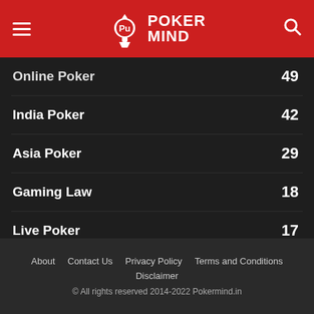Poker Mind
Online Poker 49
India Poker 42
Asia Poker 29
Gaming Law 18
Live Poker 17
Press Release 16
Celebrity Poker 16
Strategy 15
Weird 15
About   Contact Us   Privacy Policy   Terms and Conditions   Disclaimer
© All rights reserved 2014-2022 Pokermind.in